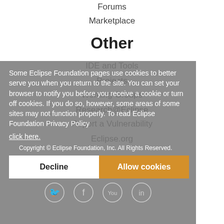Forums
Marketplace
Other
IDE and Tools
Projects
Working Groups
Research@Eclipse
Report a Vulnerability
Eclipse.org
Some Eclipse Foundation pages use cookies to better serve you when you return to the site. You can set your browser to notify you before you receive a cookie or turn off cookies. If you do so, however, some areas of some sites may not function properly. To read Eclipse Foundation Privacy Policy click here.
Copyright © Eclipse Foundation, Inc. All Rights Reserved.